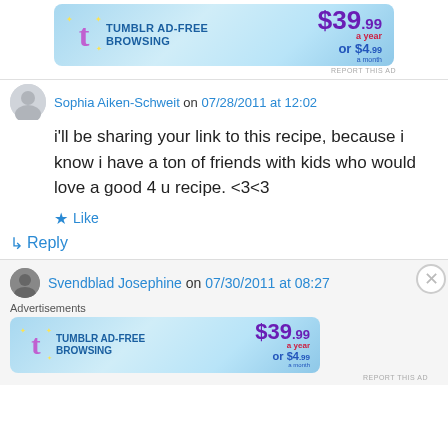[Figure (screenshot): Tumblr Ad-Free Browsing advertisement banner, $39.99 a year or $4.99 a month]
REPORT THIS AD
Sophia Aiken-Schweit on 07/28/2011 at 12:02
i'll be sharing your link to this recipe, because i know i have a ton of friends with kids who would love a good 4 u recipe. <3<3
Like
Reply
Svendblad Josephine on 07/30/2011 at 08:27
Advertisements
[Figure (screenshot): Tumblr Ad-Free Browsing advertisement banner, $39.99 a year or $4.99 a month]